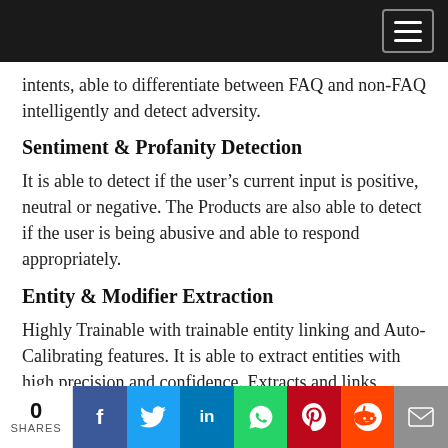[Navigation bar with hamburger menu]
intents, able to differentiate between FAQ and non-FAQ intelligently and detect adversity.
Sentiment & Profanity Detection
It is able to detect if the user’s current input is positive, neutral or negative. The Products are also able to detect if the user is being abusive and able to respond appropriately.
Entity & Modifier Extraction
Highly Trainable with trainable entity linking and Auto-Calibrating features. It is able to extract entities with high precision and confidence. Extracts and links Modifiers like “from” and “to” to related
0 SHARES | Facebook | Twitter | LinkedIn | WhatsApp | Pinterest | Reddit | Email